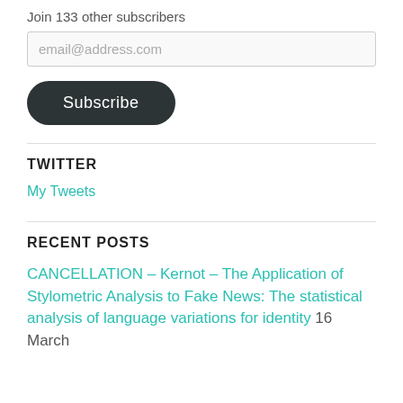Join 133 other subscribers
email@address.com
Subscribe
TWITTER
My Tweets
RECENT POSTS
CANCELLATION – Kernot – The Application of Stylometric Analysis to Fake News: The statistical analysis of language variations for identity 16 March